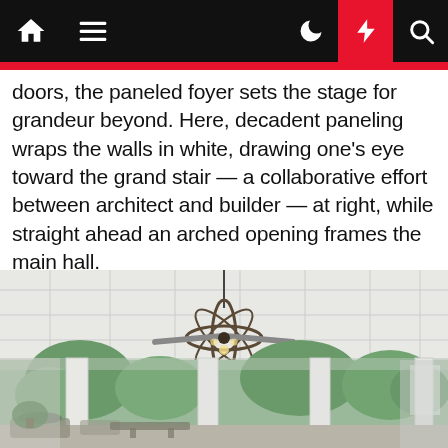Navigation bar with home, menu, dark mode, lightning/highlight, and search icons
doors, the paneled foyer sets the stage for grandeur beyond. Here, decadent paneling wraps the walls in white, drawing one's eye toward the grand stair — a collaborative effort between architect and builder — at right, while straight ahead an arched opening frames the main hall.
[Figure (photo): Interior photo of a covered porch or screened porch with a coffered white ceiling, an orb-style chandelier/ceiling fan in bronze, white square columns, and outdoor furniture. Trees and greenery visible in the background through the open columns.]